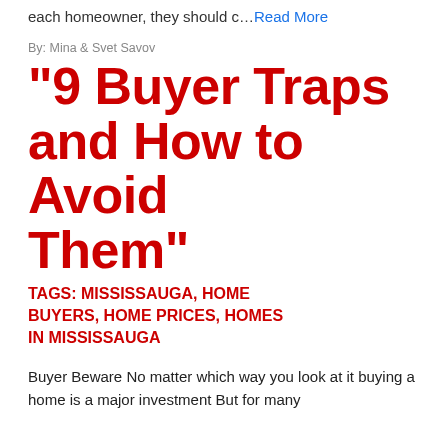each homeowner, they should c… Read More
By: Mina & Svet Savov
“9 Buyer Traps and How to Avoid Them”
TAGS: MISSISSAUGA, HOME BUYERS, HOME PRICES, HOMES IN MISSISSAUGA
Buyer Beware No matter which way you look at it buying a home is a major investment But for many